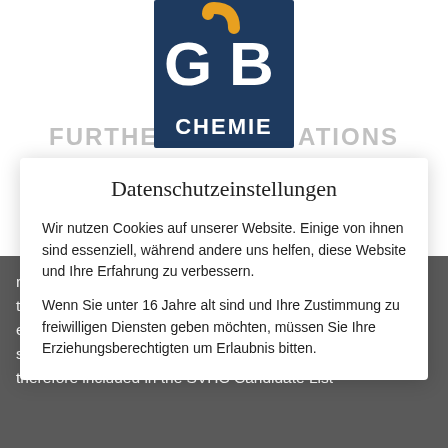[Figure (logo): GB Chemie logo — dark navy blue square with white letters GB and orange accent, white text CHEMIE below]
Datenschutzeinstellungen
Wir nutzen Cookies auf unserer Website. Einige von ihnen sind essenziell, während andere uns helfen, diese Website und Ihre Erfahrung zu verbessern.
Wenn Sie unter 16 Jahre alt sind und Ihre Zustimmung zu freiwilligen Diensten geben möchten, müssen Sie Ihre Erziehungsberechtigten um Erlaubnis bitten.
recent years. DMF, DMAC and NMP are EU-harmonised as toxic to reproduction, and the substance can also irritate the eyes, skin and respiratory tract. DMF is thus a CMR substance (Carcinogens – Mutagens – Reprotoxic) and was therefore included in the SVHC Candidate List